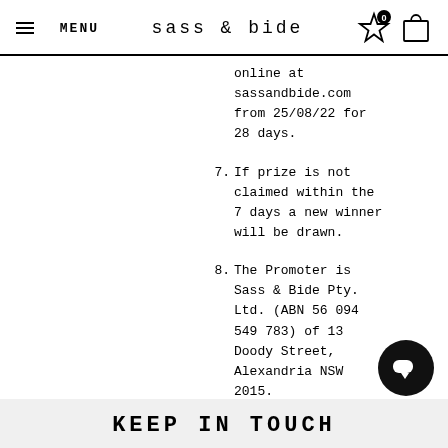MENU  sass & bide
online at sassandbide.com from 25/08/22 for 28 days.
7. If prize is not claimed within the 7 days a new winner will be drawn.
8. The Promoter is Sass & Bide Pty. Ltd. (ABN 56 094 549 783) of 13 Doody Street, Alexandria NSW 2015.
KEEP IN TOUCH